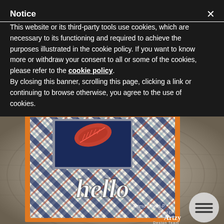Notice
This website or its third-party tools use cookies, which are necessary to its functioning and required to achieve the purposes illustrated in the cookie policy. If you want to know more or withdraw your consent to all or some of the cookies, please refer to the cookie policy. By closing this banner, scrolling this page, clicking a link or continuing to browse otherwise, you agree to the use of cookies.
[Figure (photo): A handmade greeting card with plaid pattern featuring the word 'hello' in white script lettering, with a navy blue rectangle and a red feather motif, placed on a wooden surface. A circular menu button is visible in the lower right. A watermark reads 'Teresa Dewitt - Dare 2B Artzy Design Team'.]